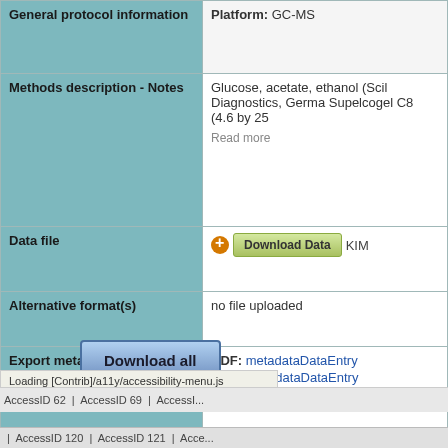| Field | Value |
| --- | --- |
| General protocol information (partial) | Platform: GC-MS |
| Methods description - Notes | Glucose, acetate, ethanol (Scil Diagnostics, Germa... Supelcogel C8 (4.6 by 25... Read more |
| Data file | Download Data  KIM... |
| Alternative format(s) | no file uploaded |
| Export metadata | RDF: metadataDataEntry... XML: metadataDataEntry... Plain text: metadataData... |
[Figure (screenshot): Download all button]
Loading [Contrib]/a11y/accessibility-menu.js
AccessID 62 | AccessID 69 | AccessI... | AccessID 120 | AccessID 121 | Acce...